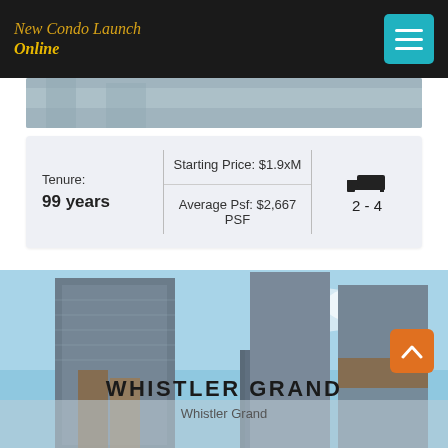New Condo Launch Online
[Figure (photo): Partial view of a building/condo exterior at the top]
| Tenure | Pricing | Bedrooms |
| --- | --- | --- |
| 99 years | Starting Price: $1.9xM | Average Psf: $2,667 PSF | 2 - 4 |
[Figure (photo): Exterior rendering of Whistler Grand condo towers against a blue sky]
WHISTLER GRAND
Whistler Grand